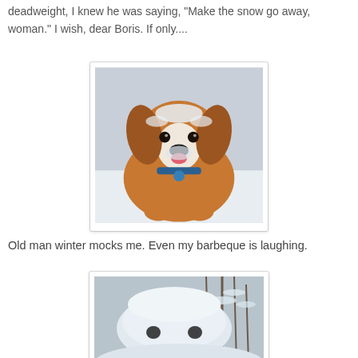deadweight, I knew he was saying, "Make the snow go away, woman." I wish, dear Boris. If only....
[Figure (photo): Close-up photo of a Cavalier King Charles Spaniel dog with snow on its face and fur, licking its nose, wearing a blue collar, standing in snow.]
Old man winter mocks me. Even my barbeque is laughing.
[Figure (photo): Photo of a snow-covered barbeque grill that looks like a face with two dark eyes visible through the heavy snow, with snowy trees in the background.]